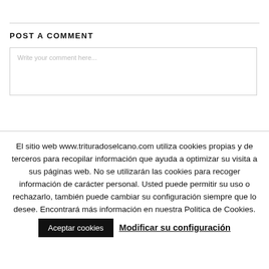POST A COMMENT
Write your comment here...
El sitio web www.trituradoselcano.com utiliza cookies propias y de terceros para recopilar información que ayuda a optimizar su visita a sus páginas web. No se utilizarán las cookies para recoger información de carácter personal. Usted puede permitir su uso o rechazarlo, también puede cambiar su configuración siempre que lo desee. Encontrará más información en nuestra Politica de Cookies.
Aceptar cookies
Modificar su configuración